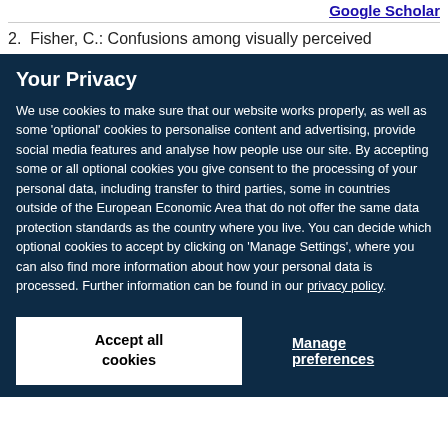Google Scholar
2. Fisher, C.: Confusions among visually perceived
Your Privacy
We use cookies to make sure that our website works properly, as well as some 'optional' cookies to personalise content and advertising, provide social media features and analyse how people use our site. By accepting some or all optional cookies you give consent to the processing of your personal data, including transfer to third parties, some in countries outside of the European Economic Area that do not offer the same data protection standards as the country where you live. You can decide which optional cookies to accept by clicking on 'Manage Settings', where you can also find more information about how your personal data is processed. Further information can be found in our privacy policy.
Accept all cookies
Manage preferences